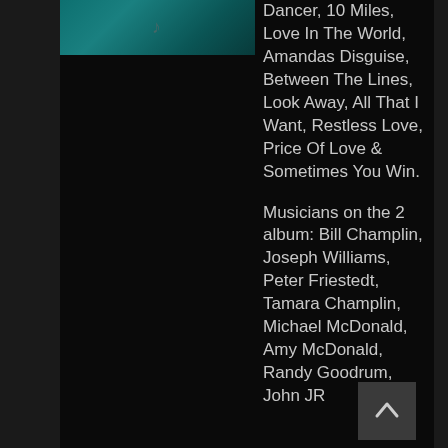[Figure (illustration): Album cover thumbnail showing teal/green textured background with partial text visible]
Dancer, 10 Miles, Love In The World, Amandas Disguise, Between The Lines, Look Away, All That I Want, Restless Love, Price Of Love & Sometimes You Win.
Musicians on the 2 album: Bill Champlin, Joseph Williams, Peter Friestedt, Tamara Champlin, Michael McDonald, Amy McDonald, Randy Goodrum, John JR